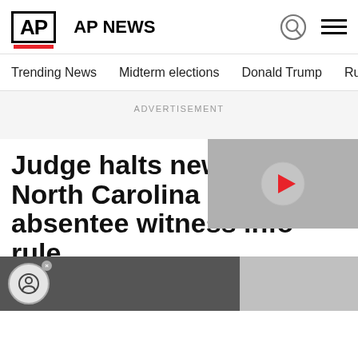AP NEWS
Trending News   Midterm elections   Donald Trump   Russia-Ukr
ADVERTISEMENT
Judge halts new North Carolina absentee witness info rule
By JONATHAN DREW   October 3, 2020